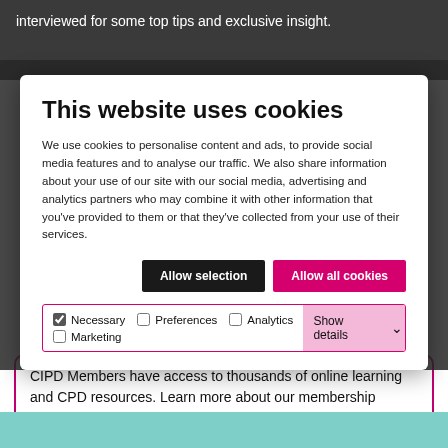Take a look back at some of the people we've interviewed for some top tips and exclusive insight.
This website uses cookies
We use cookies to personalise content and ads, to provide social media features and to analyse our traffic. We also share information about your use of our site with our social media, advertising and analytics partners who may combine it with other information that you've provided to them or that they've collected from your use of their services.
Allow selection
Allow all cookies
Necessary  Preferences  Analytics  Marketing  Show details
CIPD Members have access to thousands of online learning and CPD resources. Learn more about our membership benefits